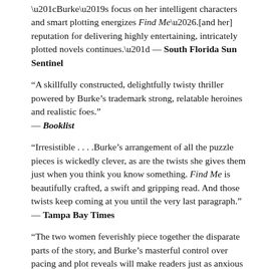“Burke’s focus on her intelligent characters and smart plotting energizes Find Me….[and her] reputation for delivering highly entertaining, intricately plotted novels continues.” — South Florida Sun Sentinel
“A skillfully constructed, delightfully twisty thriller powered by Burke’s trademark strong, relatable heroines and realistic foes.” — Booklist
“Irresistible . . . .Burke’s arrangement of all the puzzle pieces is wickedly clever, as are the twists she gives them just when you think you know something. Find Me is beautifully crafted, a swift and gripping read. And those twists keep coming at you until the very last paragraph.” — Tampa Bay Times
“The two women feverishly piece together the disparate parts of the story, and Burke’s masterful control over pacing and plot reveals will make readers just as anxious to uncover the truth.” — BookPage
“Burke is a master at plotting and pacing, and doesn’t disappoint here. Not only is this book a true page-turner with an intricately…